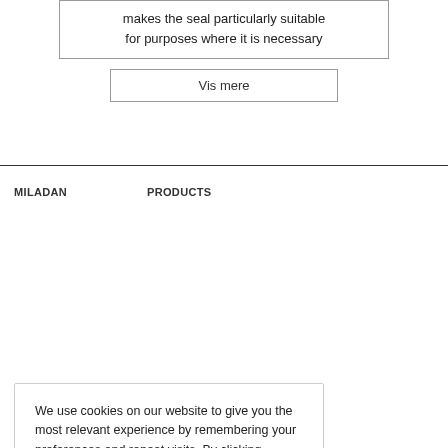makes the seal particularly suitable for purposes where it is necessary
Vis mere
MILADAN
PRODUCTS
We use cookies on our website to give you the most relevant experience by remembering your preferences and repeat visits. By clicking “Accept”, you consent to the use of ALL the cookies.
Cookie settings
ACCEPT